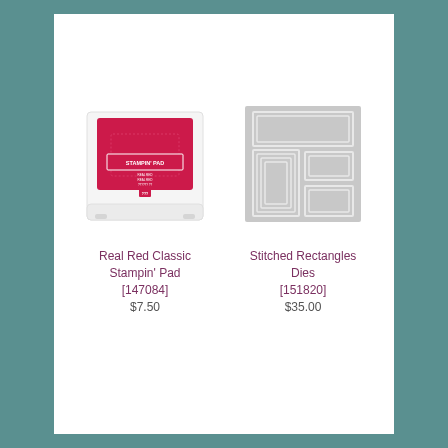[Figure (photo): Real Red Classic Stampin' Pad product photo - red ink pad in white casing]
Real Red Classic Stampin' Pad
[147084]
$7.50
[Figure (photo): Stitched Rectangles Dies product photo - gray metal dies with rectangle shapes]
Stitched Rectangles Dies
[151820]
$35.00